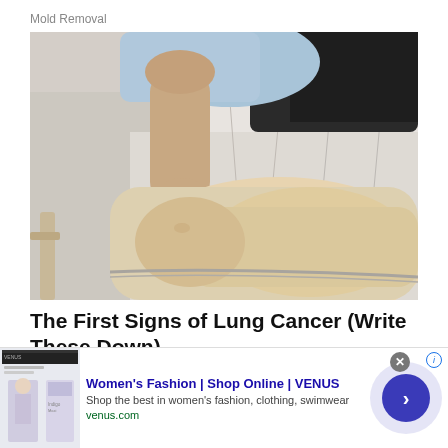Mold Removal
[Figure (photo): A doctor or clinician pointing at a person's lower leg/ankle area, likely demonstrating a symptom or physical sign. The patient is lying on a medical examination table with white/grey paper covering. The clinician is wearing a light blue shirt and dark pants.]
The First Signs of Lung Cancer (Write These Down)
Lung
[Figure (screenshot): Advertisement banner for Women's Fashion | Shop Online | VENUS. Shows a thumbnail screenshot of the VENUS website with a model. Ad text: Women's Fashion | Shop Online | VENUS. Shop the best in women's fashion, clothing, swimwear. venus.com. Has a close (X) button and a blue arrow CTA button.]